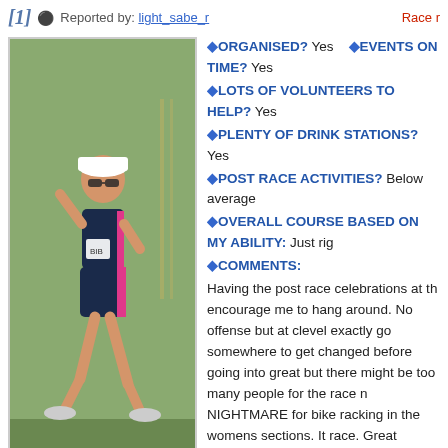[1]  Reported by: light_sabe_r   Race r
[Figure (photo): Woman in triathlon gear running, wearing white visor and sunglasses, pink and navy top and shorts]
ORGANISED? Yes  EVENTS ON TIME? Yes
LOTS OF VOLUNTEERS TO HELP? Yes
PLENTY OF DRINK STATIONS? Yes
POST RACE ACTIVITIES? Below average
OVERALL COURSE BASED ON MY ABILITY: Just rig
COMMENTS: Having the post race celebrations at th encourage me to hang around. No offense but at clevel exactly go somewhere to get changed before going into great but there might be too many people for the race n NIGHTMARE for bike racking in the womens sections. It race. Great location, my old home town and the redland public loos at the library are always a welcome relief compared to the
[2]  Reported by: light_sabe_r   Race r
[Figure (photo): Woman in triathlon gear, white visor and sunglasses, smiling]
ORGANISED? Yes  EVENTS ON TIME? Yes
LOTS OF VOLUNTEERS TO HELP? Yes